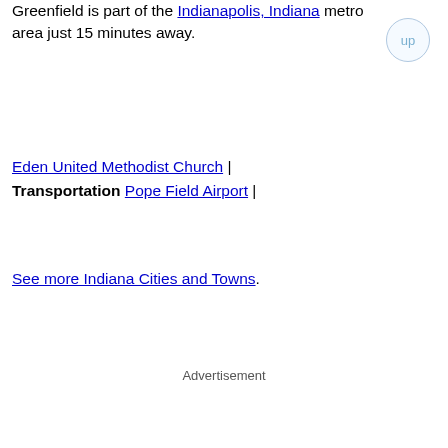Greenfield is part of the Indianapolis, Indiana metro area just 15 minutes away.
Eden United Methodist Church | Transportation Pope Field Airport |
See more Indiana Cities and Towns.
Advertisement